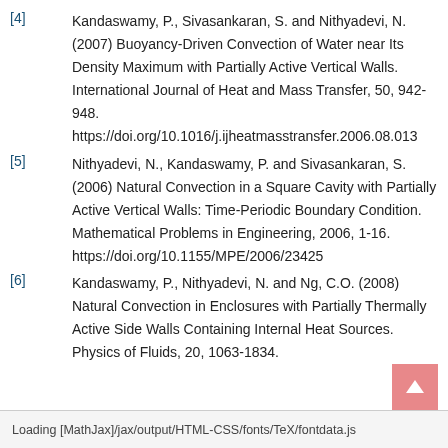[4] Kandaswamy, P., Sivasankaran, S. and Nithyadevi, N. (2007) Buoyancy-Driven Convection of Water near Its Density Maximum with Partially Active Vertical Walls. International Journal of Heat and Mass Transfer, 50, 942-948. https://doi.org/10.1016/j.ijheatmasstransfer.2006.08.013
[5] Nithyadevi, N., Kandaswamy, P. and Sivasankaran, S. (2006) Natural Convection in a Square Cavity with Partially Active Vertical Walls: Time-Periodic Boundary Condition. Mathematical Problems in Engineering, 2006, 1-16. https://doi.org/10.1155/MPE/2006/23425
[6] Kandaswamy, P., Nithyadevi, N. and Ng, C.O. (2008) Natural Convection in Enclosures with Partially Thermally Active Side Walls Containing Internal Heat Sources. Physics of Fluids, 20, 1063-1834.
Loading [MathJax]/jax/output/HTML-CSS/fonts/TeX/fontdata.js